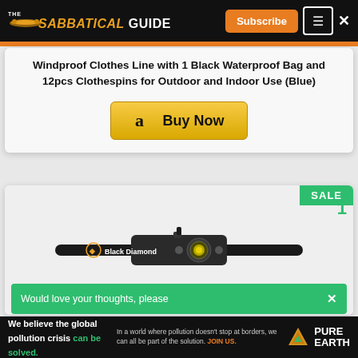THE SABBATICAL GUIDE — Subscribe
Windproof Clothes Line with 1 Black Waterproof Bag and 12pcs Clothespins for Outdoor and Indoor Use (Blue)
[Figure (screenshot): Amazon Buy Now button with Amazon logo]
[Figure (photo): Black Diamond headlamp product image with SALE badge]
Would love your thoughts, please
We believe the global pollution crisis can be solved. In a world where pollution doesn't stop at borders, we can all be part of the solution. JOIN US. PURE EARTH